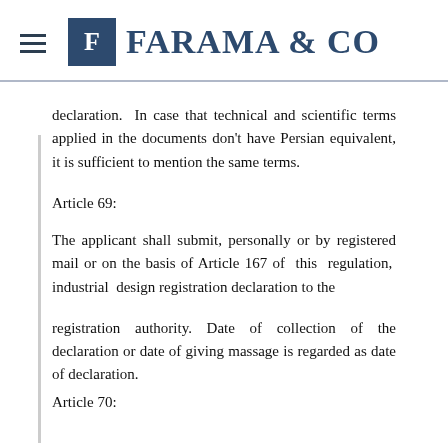FARAMA & CO
declaration. In case that technical and scientific terms applied in the documents don't have Persian equivalent, it is sufficient to mention the same terms.
Article 69:
The applicant shall submit, personally or by registered mail or on the basis of Article 167 of this regulation, industrial design registration declaration to the
registration authority. Date of collection of the declaration or date of giving massage is regarded as date of declaration.
Article 70: